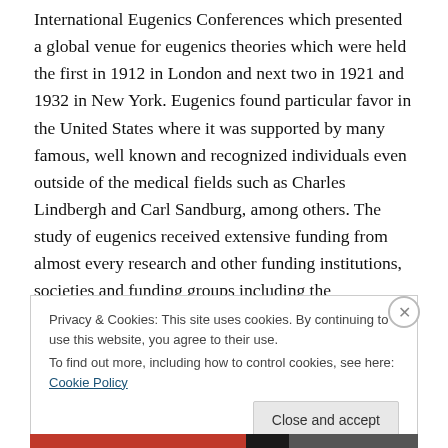International Eugenics Conferences which presented a global venue for eugenics theories which were held the first in 1912 in London and next two in 1921 and 1932 in New York. Eugenics found particular favor in the United States where it was supported by many famous, well known and recognized individuals even outside of the medical fields such as Charles Lindbergh and Carl Sandburg, among others. The study of eugenics received extensive funding from almost every research and other funding institutions, societies and funding groups including the Rockefeller Foundation, the Carnegie Institute,
Privacy & Cookies: This site uses cookies. By continuing to use this website, you agree to their use.
To find out more, including how to control cookies, see here: Cookie Policy
Close and accept